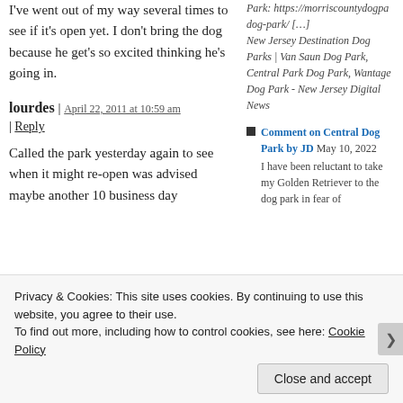I've went out of my way several times to see if it's open yet. I don't bring the dog because he get's so excited thinking he's going in.
lourdes | April 22, 2011 at 10:59 am | Reply
Called the park yesterday again to see when it might re-open was advised maybe another 10 business day
Park: https://morriscountydogpa dog-park/ […] New Jersey Destination Dog Parks | Van Saun Dog Park, Central Park Dog Park, Wantage Dog Park - New Jersey Digital News
Comment on Central Dog Park by JD May 10, 2022 I have been reluctant to take my Golden Retriever to the dog park in fear of
Privacy & Cookies: This site uses cookies. By continuing to use this website, you agree to their use. To find out more, including how to control cookies, see here: Cookie Policy
Close and accept